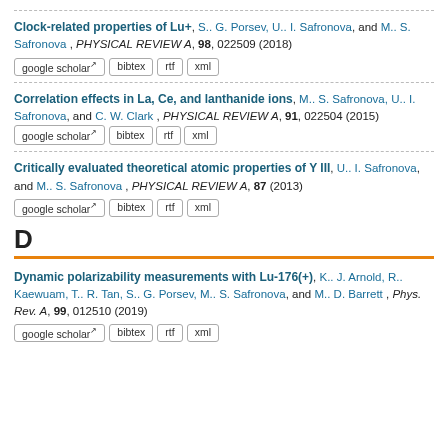Clock-related properties of Lu+, S. G. Porsev, U. I. Safronova, and M. S. Safronova , PHYSICAL REVIEW A, 98, 022509 (2018) [google scholar] [bibtex] [rtf] [xml]
Correlation effects in La, Ce, and lanthanide ions, M. S. Safronova, U. I. Safronova, and C. W. Clark , PHYSICAL REVIEW A, 91, 022504 (2015) [google scholar] [bibtex] [rtf] [xml]
Critically evaluated theoretical atomic properties of Y III, U. I. Safronova, and M. S. Safronova , PHYSICAL REVIEW A, 87 (2013) [google scholar] [bibtex] [rtf] [xml]
D
Dynamic polarizability measurements with Lu-176(+), K. J. Arnold, R. Kaewuam, T. R. Tan, S. G. Porsev, M. S. Safronova, and M. D. Barrett , Phys. Rev. A, 99, 012510 (2019) [google scholar] [bibtex] [rtf] [xml]